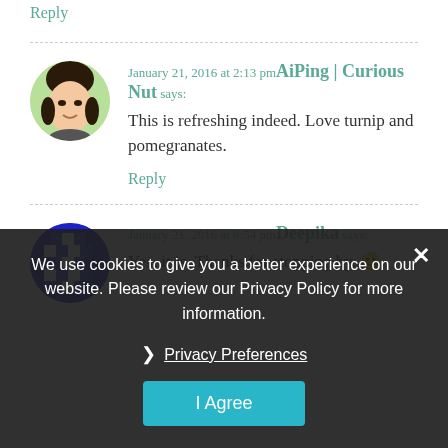Reply
January 21, 2016 at 2:13 pm AiPing | Curious Nut says: This is refreshing indeed. Love turnip and pomegranates.
Reply
January 21, 2016 at 8:54 pm Deepika says: Yes, it is. Thanks for stopping by. 🙂
We use cookies to give you a better experience on our website. Please review our Privacy Policy for more information.
Privacy Preferences
I Agree